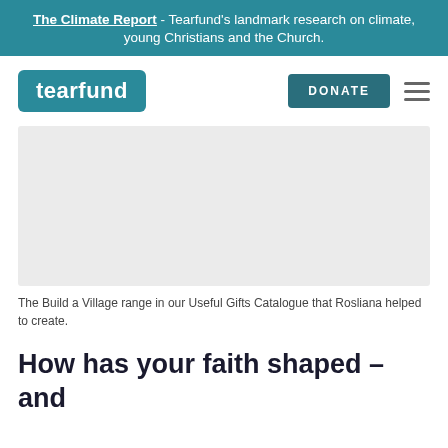The Climate Report - Tearfund's landmark research on climate, young Christians and the Church.
[Figure (logo): Tearfund logo: white text 'tearfund' on teal rounded rectangle background]
[Figure (other): DONATE button in teal, hamburger menu icon]
[Figure (photo): Light grey placeholder rectangle representing an image of the Build a Village range in the Useful Gifts Catalogue]
The Build a Village range in our Useful Gifts Catalogue that Rosliana helped to create.
How has your faith shaped – and